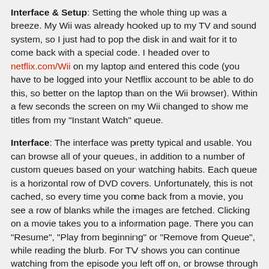Interface & Setup: Setting the whole thing up was a breeze. My Wii was already hooked up to my TV and sound system, so I just had to pop the disk in and wait for it to come back with a special code. I headed over to netflix.com/Wii on my laptop and entered this code (you have to be logged into your Netflix account to be able to do this, so better on the laptop than on the Wii browser). Within a few seconds the screen on my Wii changed to show me titles from my "Instant Watch" queue.
Interface: The interface was pretty typical and usable. You can browse all of your queues, in addition to a number of custom queues based on your watching habits. Each queue is a horizontal row of DVD covers. Unfortunately, this is not cached, so every time you come back from a movie, you see a row of blanks while the images are fetched. Clicking on a movie takes you to a information page. There you can "Resume", "Play from beginning" or "Remove from Queue", while reading the blurb. For TV shows you can continue watching from the episode you left off on, or browse through all the episodes. You can also rate the movies. No way to read reviews yet though.